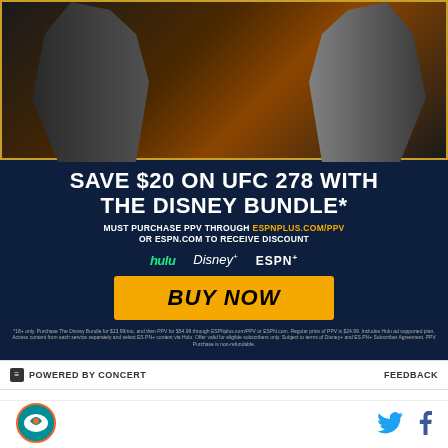[Figure (infographic): UFC 278 advertisement on dark navy background showing two fighters facing off, with text promoting saving $20 on UFC 278 with The Disney Bundle. Must purchase PPV through espnplus.com/ppv or espn.com to receive discount. Shows Hulu, Disney+, and ESPN+ logos and a yellow BUY NOW button.]
POWERED BY CONCERT
FEEDBACK
Houtz: Ohio State is one of the better teams in college football. What does this mean to Isaiah Ford? Not a
[Figure (logo): Miami Dolphins logo in bottom left footer]
[Figure (logo): Twitter bird icon]